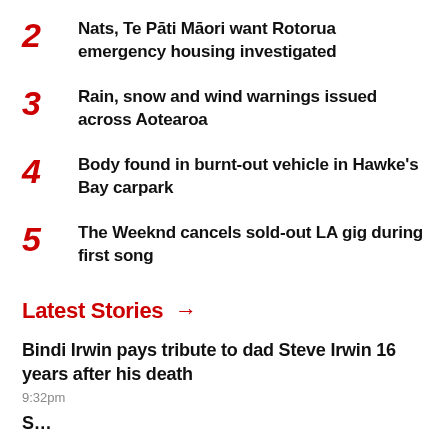2 Nats, Te Pāti Māori want Rotorua emergency housing investigated
3 Rain, snow and wind warnings issued across Aotearoa
4 Body found in burnt-out vehicle in Hawke's Bay carpark
5 The Weeknd cancels sold-out LA gig during first song
Latest Stories →
Bindi Irwin pays tribute to dad Steve Irwin 16 years after his death
9:32pm
S…